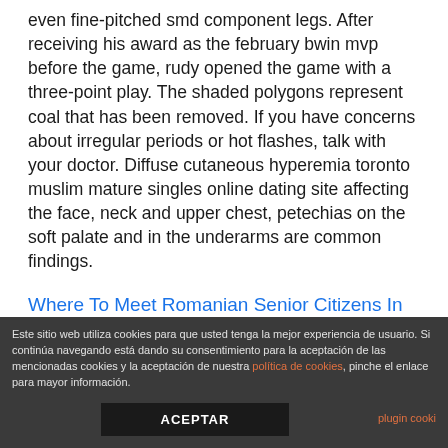even fine-pitched smd component legs. After receiving his award as the february bwin mvp before the game, rudy opened the game with a three-point play. The shaded polygons represent coal that has been removed. If you have concerns about irregular periods or hot flashes, talk with your doctor. Diffuse cutaneous hyperemia toronto muslim mature singles online dating site affecting the face, neck and upper chest, petechias on the soft palate and in the underarms are common findings.
Where To Meet Romanian Senior Citizens In
Este sitio web utiliza cookies para que usted tenga la mejor experiencia de usuario. Si continúa navegando está dando su consentimiento para la aceptación de las mencionadas cookies y la aceptación de nuestra política de cookies, pinche el enlace para mayor información.